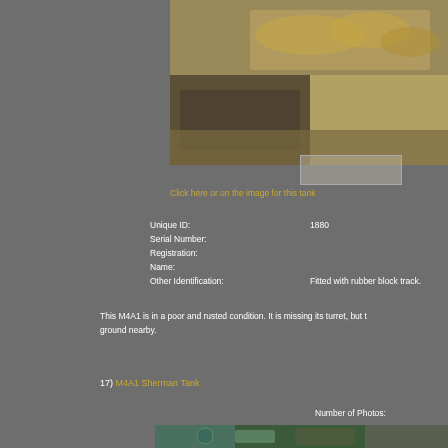[Figure (photo): Close-up photo of rusted tank tracks and debris on the ground, brownish-yellow tones]
Click here or on the image for this tank
| Unique ID: | 1880 |
| Serial Number: |  |
| Registration: |  |
| Name: |  |
| Other Identification: | Fitted with rubber block track. |
This M4A1 is in a poor and rusted condition. It is missing its turret, but t ground nearby.
17) M4A1 Sherman Tank
Number of Photos:
[Figure (photo): Interior/close-up photo of M4A1 Sherman Tank showing green mechanical components]